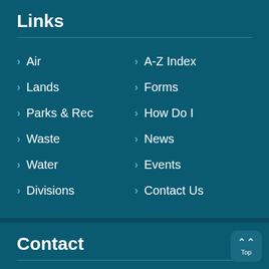Links
Air
A-Z Index
Lands
Forms
Parks & Rec
How Do I
Waste
News
Water
Events
Divisions
Contact Us
Contact
3000 Commonwealth Boulevard